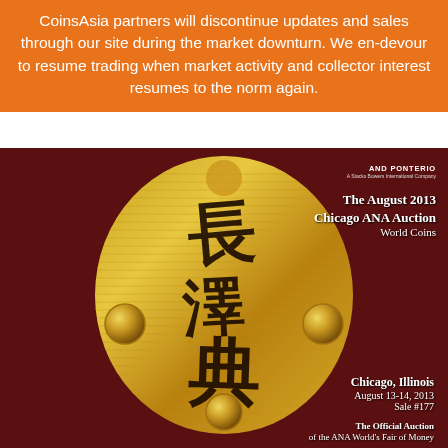CoinsAsia partners will discontinue updates and sales through our site during the market downturn. We en-devour to resume trading when market activity and collector interest resumes to the norm again.
[Figure (illustration): Cover of The August 2013 Chicago ANA Auction World Coins catalog. Features a dark red/maroon background with a large golden oval shape displaying Chinese calligraphy characters in black. Small gold coins with decorative patterns are visible on the sides. Text reads 'AND PONTERIO', 'The August 2013 Chicago ANA Auction', 'World Coins', 'Chicago, Illinois', 'August 13-14, 2013', 'Sale #177', 'The Official Auction of the ANA World's Fair of Money'.]